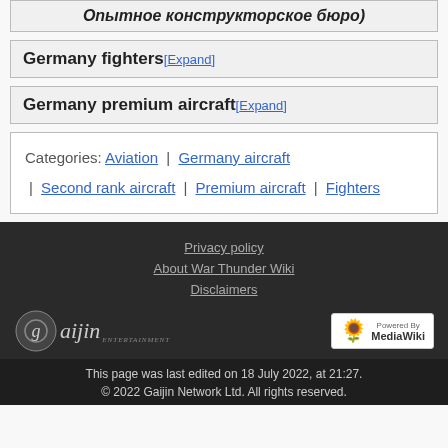Опытное конструкторское бюро)
Germany fighters [Expand]
Germany premium aircraft [Expand]
Categories: Aviation | Germany aircraft | Second rank aircraft | Premium aircraft | Fighters
Privacy policy
About War Thunder Wiki
Disclaimers
This page was last edited on 18 July 2022, at 21:27.
© 2022 Gaijin Network Ltd. All rights reserved.